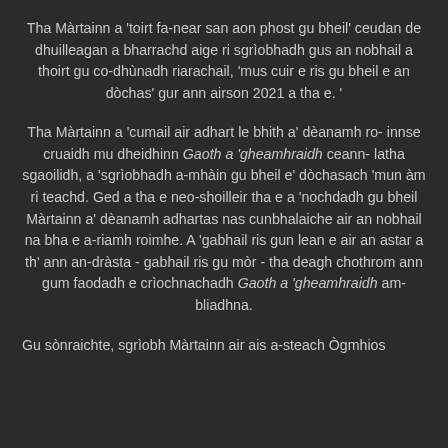Tha Màrtainn a 'toirt fa-near san aon phost gu bheil' ceudan de dhuilleagan a bharrachd aige ri sgrìobhadh gus an nobhail a thoirt gu co-dhùnadh riarachail, 'mus cuir e ris gu bheil e an dòchas' gur ann airson 2021 a tha e. '
Tha Màrtainn a 'cumail air adhart le bhith a' dèanamh ro-innse cruaidh mu dheidhinn Gaoth a 'gheamhraidh ceann-latha sgaoilidh, a 'sgrìobhadh a-mhàin gu bheil e' dòchasach 'mun àm ri teachd. Ged a tha e neo-shoilleir tha e a 'nochdadh gu bheil Màrtainn a' dèanamh adhartas nas cunbhalaiche air an nobhail na bha e a-riamh roimhe. A 'gabhail ris gun lean e air an astar a th' ann an-dràsta - gabhail ris gu mòr - tha deagh chothrom ann gum faodadh e crìochnachadh Gaoth a 'gheamhraidh am-bliadhna.
Gu sònraichte, sgrìobh Màrtainn air ais a-steach Ògmhios